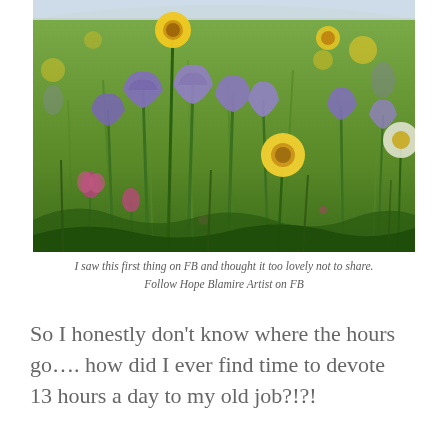[Figure (photo): Close-up photograph of a wildflower meadow with purple bell-shaped flowers (harebells), bright yellow flowers, and pink clover blooms against a green grass background, with a distant coastal or hilly landscape visible in the blurred background.]
I saw this first thing on FB and thought it too lovely not to share. Follow Hope Blamire Artist on FB
So I honestly don't know where the hours go…. how did I ever find time to devote 13 hours a day to my old job?!?!